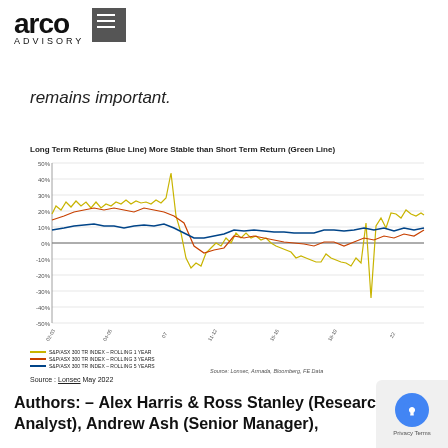[Figure (logo): Arco Advisory logo with bold text 'arco' and 'ADVISORY' subtitle, with a dark square icon containing horizontal lines]
remains important.
Long Term Returns (Blue Line) More Stable than Short Term Return (Green Line)
[Figure (line-chart): Line chart showing S&P/ASX 300 TR Index rolling 1 year (yellow/green), rolling 3 years (orange/red), and rolling 5 years (blue/dark) returns from approximately 2002 to 2022. Y-axis ranges from -50% to 50%. Long-term returns (blue) are more stable than short-term (green/yellow).]
Source: Lonsec May 2022
Authors: – Alex Harris & Ross Stanley (Research Analyst), Andrew Ash (Senior Manager),